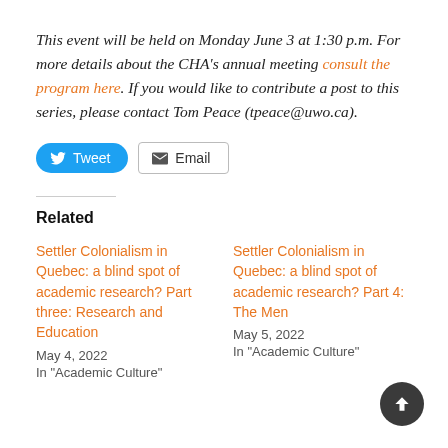This event will be held on Monday June 3 at 1:30 p.m. For more details about the CHA's annual meeting consult the program here. If you would like to contribute a post to this series, please contact Tom Peace (tpeace@uwo.ca).
[Figure (other): Tweet and Email share buttons]
Related
Settler Colonialism in Quebec: a blind spot of academic research? Part three: Research and Education
May 4, 2022
In "Academic Culture"
Settler Colonialism in Quebec: a blind spot of academic research? Part 4: The Men
May 5, 2022
In "Academic Culture"